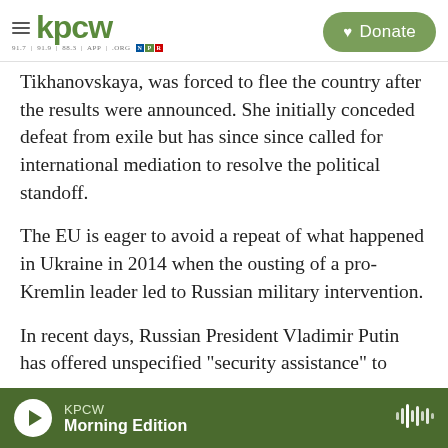KPCW — Donate
Tikhanovskaya, was forced to flee the country after the results were announced. She initially conceded defeat from exile but has since since called for international mediation to resolve the political standoff.
The EU is eager to avoid a repeat of what happened in Ukraine in 2014 when the ousting of a pro-Kremlin leader led to Russian military intervention.
In recent days, Russian President Vladimir Putin has offered unspecified "security assistance" to
KPCW — Morning Edition